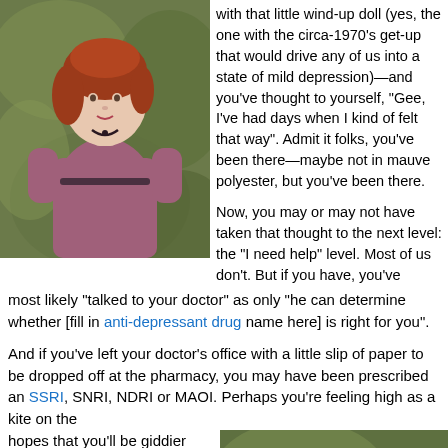[Figure (photo): A wind-up doll figure with red hair, wearing a mauve/purple circa-1970s dress with a black bow at the neck, standing with arms slightly out, with a blurred green background.]
with that little wind-up doll (yes, the one with the circa-1970's get-up that would drive any of us into a state of mild depression)—and you've thought to yourself, "Gee, I've had days when I kind of felt that way". Admit it folks, you've been there—maybe not in mauve polyester, but you've been there.
Now, you may or may not have taken that thought to the next level: the "I need help" level. Most of us don't. But if you have, you've most likely "talked to your doctor" as only "he can determine whether [fill in anti-depressant drug name here] is right for you".
And if you've left your doctor's office with a little slip of paper to be dropped off at the pharmacy, you may have been prescribed an SSRI, SNRI, NDRI or MAOI. Perhaps you're feeling high as a kite on the hopes that you'll be giddier than a glee club as soon as you get that scrip filled. But, take pause. For while you fantasize about your future mental state...
[Figure (photo): A wind-up doll figure with red hair and pink/mauve dress being wound up by a hand holding a key at its back, with blurred green background.]